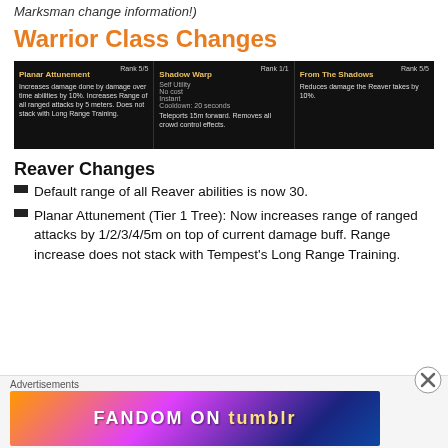Marksman change information!)
Warrior Class Changes
[Figure (screenshot): Game UI screenshot showing three ability tooltips: Planar Attunement (Rank 5/5), Shadow Warp (Rank 1/1), and From The Shadows (Rank 5/5)]
Reaver Changes
Default range of all Reaver abilities is now 30.
Planar Attunement (Tier 1 Tree): Now increases range of ranged attacks by 1/2/3/4/5m on top of current damage buff. Range increase does not stack with Tempest’s Long Range Training.
Advertisements
[Figure (other): Fandom on Tumblr advertisement banner]